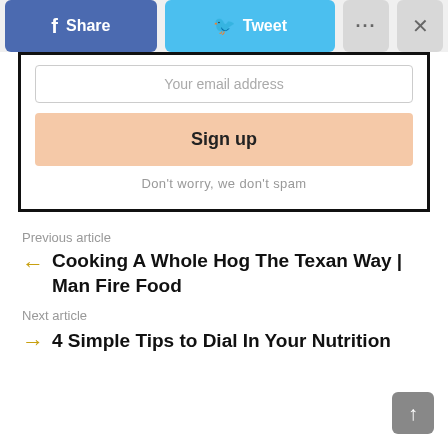[Figure (screenshot): Social sharing toolbar with Facebook Share button (blue), Twitter Tweet button (light blue), more options button (gray, three dots), and close button (gray, X)]
Your email address
Sign up
Don't worry, we don't spam
Previous article
← Cooking A Whole Hog The Texan Way | Man Fire Food
Next article
→ 4 Simple Tips to Dial In Your Nutrition